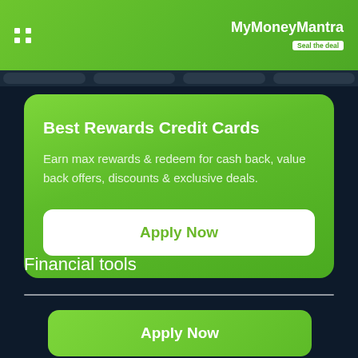MyMoneyMantra — Seal the deal
Best Rewards Credit Cards
Earn max rewards & redeem for cash back, value back offers, discounts & exclusive deals.
Apply Now
Financial tools
Apply Now